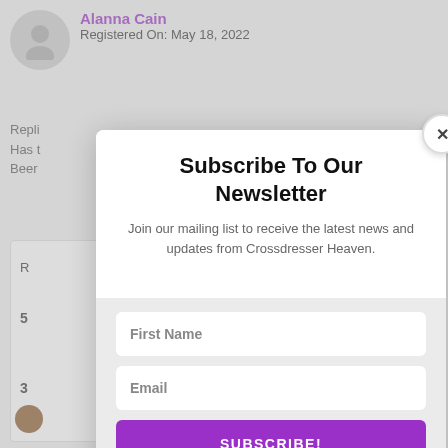[Figure (screenshot): Background webpage showing user profile with name Alanna Cain, Registered On: May 18, 2022, and partial forum content]
Subscribe To Our Newsletter
Join our mailing list to receive the latest news and updates from Crossdresser Heaven.
First Name
Email
SUBSCRIBE!
We hate spam too, unsubscribe at any time.